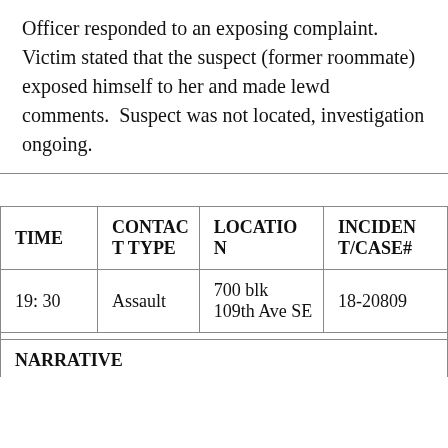Officer responded to an exposing complaint. Victim stated that the suspect (former roommate) exposed himself to her and made lewd comments.  Suspect was not located, investigation ongoing.
| TIME | CONTACT TYPE | LOCATION | INCIDENT/CASE# |
| --- | --- | --- | --- |
| 19: 30 | Assault | 700 blk 109th Ave SE | 18-20809 |
NARRATIVE